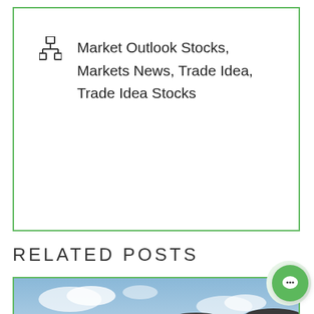Market Outlook Stocks, Markets News, Trade Idea, Trade Idea Stocks
RELATED POSTS
[Figure (photo): Oil barrels (black drums with yellow hazard/liquid drop symbols) against a blue sky background, with a date overlay showing '21 AUG' and a CSFX logo tag]